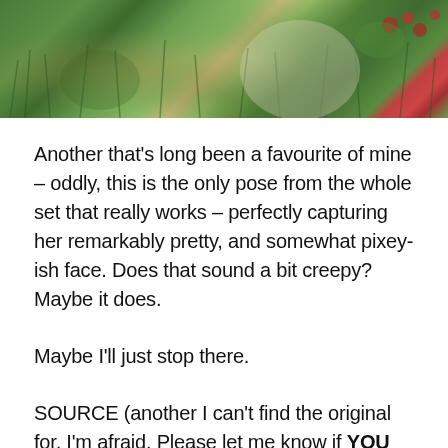[Figure (photo): Partial photo showing a person in a garden or outdoor grassy area with green foliage and red flowers/berries visible, cropped at the top of the page]
Another that's long been a favourite of mine – oddly, this is the only pose from the whole set that really works – perfectly capturing her remarkably pretty, and somewhat pixey-ish face. Does that sound a bit creepy? Maybe it does.
Maybe I'll just stop there.
SOURCE (another I can't find the original for, I'm afraid. Please let me know if YOU know)